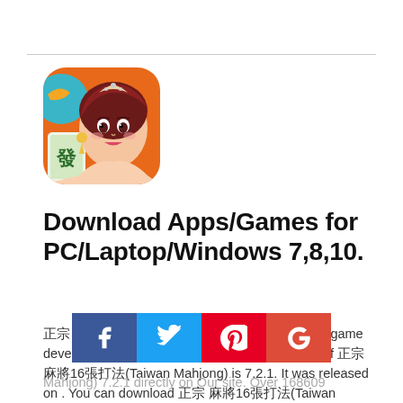[Figure (illustration): App icon for Taiwan Mahjong game - anime-style woman with mahjong tiles, orange and teal background]
Download Apps/Games for PC/Laptop/Windows 7,8,10.
正宗 麻將16張打法(Taiwan Mahjong) is a Casino game developed by Gamesofa Inc.. The latest version of 正宗 麻將16張打法(Taiwan Mahjong) is 7.2.1. It was released on . You can download 正宗 麻將16張打法(Taiwan Mahjong) 7.2.1 directly on Our site. Over 168609 users rating a average of out 正宗 麻將16張(Taiwan Mahjong). More than 100000C...